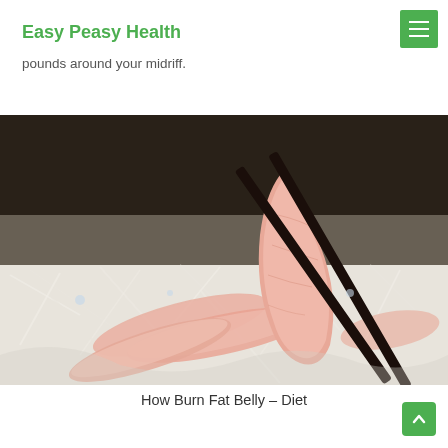Easy Peasy Health
High protein nourishments: fish, lean meat, and beans are perfect for you while attempting to shed some additional pounds around your midriff.
[Figure (photo): Close-up photo of fresh fish sashimi slices held by chopsticks, placed on a bed of shredded white radish.]
How Burn Fat Belly – Diet